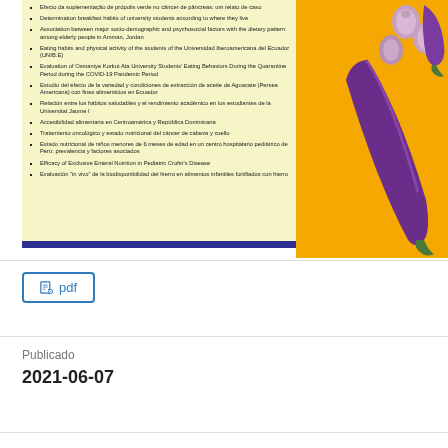[Figure (illustration): Journal cover showing a list of article titles on a yellow-green background on the left side, and eggplants and garlic on a yellow background on the right side.]
Efecto da suplementação de própolis verde no câncer de pâncreas: um relato de caso
Determination breakfast habits of university students according to where they live
Association between major socio-demographic and psychosocial factors with the dietary pattern among elderly people in Amman, Jordan
Eating habits and physical activity of the students of the Universidad Iberoamericana del Ecuador (UNIB.E)
Evaluation of Osmaniye Korkut Ata University Students' Eating Behaviors During the Quarantine Period during the COVID-19 Pandemic Period
Estudio del efecto de la variedad y condiciones de extracción de aceite de Aguacate (Persea Americana) con fines alimenticios en Ecuador
Relación entre los hábitos saludables y el rendimiento académico en los estudiantes de la Universitat Jaume I
Accesibilidad alimentaria en Centroamérica y República Dominicana
Tratamiento oncológico y estado nutricional del cáncer de cabeza y cuello
Estado nutricional de niños menores de 6 meses de edad en un centro hospitalario pediátrico de Perú: prevalencia y factores asociados
Efficacy of Exclusive Enteral Nutrition in Pediatric Crohn's Disease
Evaluación "in vivo" de la biodisponibilidad del hierro en alimentos infantiles fortifiados con hierro
pdf
Publicado
2021-06-07